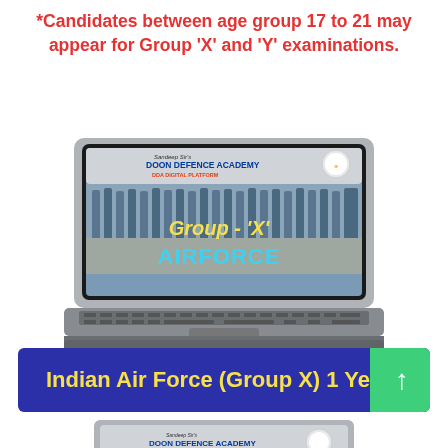*Candidates between age group 17 to 21 may appear for Group 'X' and 'Y' examinations.
[Figure (screenshot): Laptop showing Doon Defence Academy digital platform with Indian Air Force Group X course content. Screen displays marching Air Force personnel in uniform with text 'Group - X' in yellow and 'AIRFORCE' in cyan below.]
Indian Air Force (Group X) 1 Ye...
[Figure (screenshot): Partial view of second laptop showing Doon Defence Academy digital platform header.]